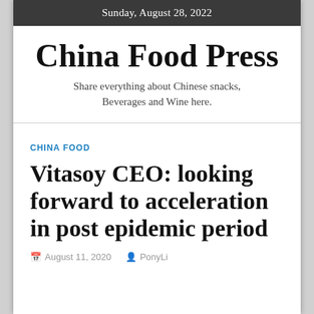Sunday, August 28, 2022
China Food Press
Share everything about Chinese snacks, Beverages and Wine here.
CHINA FOOD
Vitasoy CEO: looking forward to acceleration in post epidemic period
August 11, 2020   PonyLi